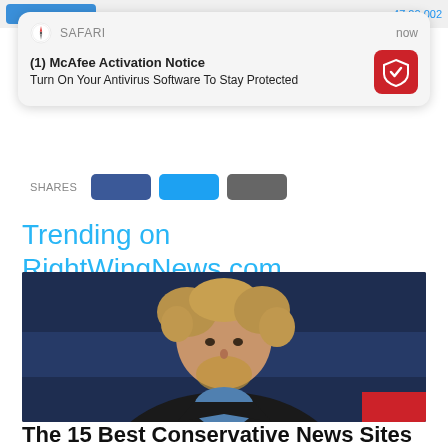[Figure (screenshot): iOS Safari push notification popup showing McAfee Activation Notice: 'Turn On Your Antivirus Software To Stay Protected']
SHARES
Trending on RightWingNews.com
[Figure (photo): Photo of a man with curly blonde hair and beard wearing a dark blazer over a blue shirt, looking serious, against a dark blue background]
The 15 Best Conservative News Sites